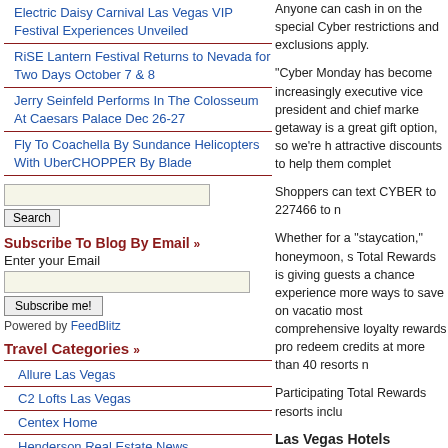Electric Daisy Carnival Las Vegas VIP Festival Experiences Unveiled
RiSE Lantern Festival Returns to Nevada for Two Days October 7 & 8
Jerry Seinfeld Performs In The Colosseum At Caesars Palace Dec 26-27
Fly To Coachella By Sundance Helicopters With UberCHOPPER By Blade
Search
Subscribe To Blog By Email »
Enter your Email
Subscribe me!
Powered by FeedBlitz
Travel Categories »
Allure Las Vegas
C2 Lofts Las Vegas
Centex Home
Henderson Real Estate News
Anyone can cash in on the special Cyber restrictions and exclusions apply.
"Cyber Monday has become increasingly executive vice president and chief marke getaway is a great gift option, so we're h attractive discounts to help them complet
Shoppers can text CYBER to 227466 to n
Whether for a "staycation," honeymoon, s Total Rewards is giving guests a chance experience more ways to save on vacatio most comprehensive loyalty rewards pro redeem credits at more than 40 resorts n
Participating Total Rewards resorts inclu
Las Vegas Hotels
Bally's Las Vegas, Caesars Palace, Flam Las Vegas, Planet Hollywood Resort & C Casino.
Atlantic City Hotels
Harrah's Resort Atlantic City, Bally's...